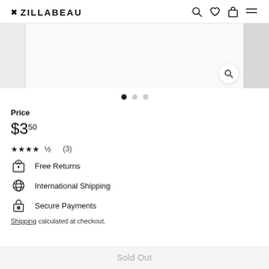OZILLABEAU
[Figure (screenshot): Product image carousel showing a partial product photo with a magnify button, flanked by grey panels on left and right. Three navigation dots below indicate slide position.]
Price
$3.50
★★★★½ (3)
Free Returns
International Shipping
Secure Payments
Shipping calculated at checkout.
Sold Out